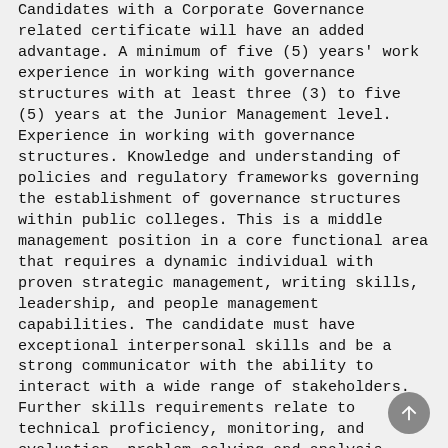Candidates with a Corporate Governance related certificate will have an added advantage. A minimum of five (5) years' work experience in working with governance structures with at least three (3) to five (5) years at the Junior Management level. Experience in working with governance structures. Knowledge and understanding of policies and regulatory frameworks governing the establishment of governance structures within public colleges. This is a middle management position in a core functional area that requires a dynamic individual with proven strategic management, writing skills, leadership, and people management capabilities. The candidate must have exceptional interpersonal skills and be a strong communicator with the ability to interact with a wide range of stakeholders. Further skills requirements relate to technical proficiency, monitoring, and evaluation, problem-solving and analysis, report writing, and preparing presentations. Good computer skills. Candidates must be willing to work irregular hours and be committed to meeting deadlines within tight time frames. Willingness to travel and a valid driver's licence.